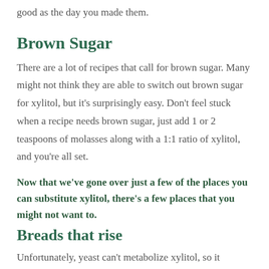good as the day you made them.
Brown Sugar
There are a lot of recipes that call for brown sugar. Many might not think they are able to switch out brown sugar for xylitol, but it’s surprisingly easy. Don’t feel stuck when a recipe needs brown sugar, just add 1 or 2 teaspoons of molasses along with a 1:1 ratio of xylitol, and you’re all set.
Now that we’ve gone over just a few of the places you can substitute xylitol, there’s a few places that you might not want to.
Breads that rise
Unfortunately, yeast can’t metabolize xylitol, so it